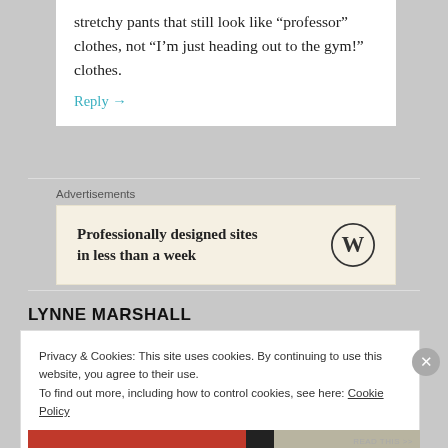stretchy pants that still look like “professor” clothes, not “I’m just heading out to the gym!” clothes.
Reply →
Advertisements
[Figure (other): WordPress advertisement banner: 'Professionally designed sites in less than a week' with WordPress logo]
LYNNE MARSHALL
Privacy & Cookies: This site uses cookies. By continuing to use this website, you agree to their use. To find out more, including how to control cookies, see here: Cookie Policy
Close and accept